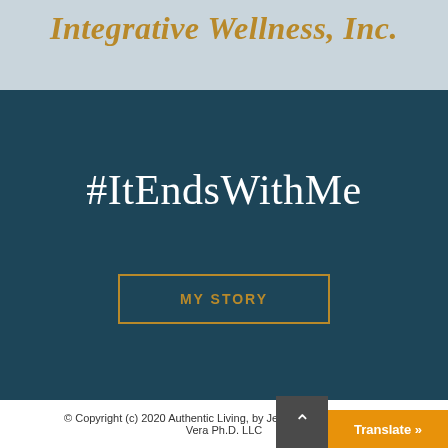Integrative Wellness, Inc.
#ItEndsWithMe
MY STORY
© Copyright (c) 2020 Authentic Living, by Jessica Vera ... Vera Ph.D. LLC